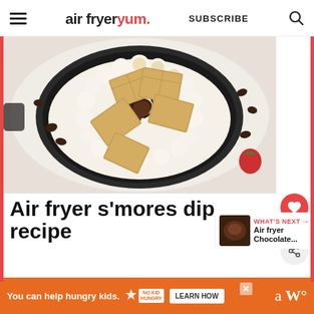air fryer yum. SUBSCRIBE
[Figure (photo): Overhead shot of a cast iron skillet filled with s'mores dip — toasted marshmallows, melted chocolate swirls, and graham crackers arranged around the edge, with chocolate chips scattered on a white surface]
Air fryer s'mores dip recipe
Air Fryer Yum
[Figure (photo): Thumbnail of Air fryer Chocolate... (what's next promo)]
You can help hungry kids. NO KID HUNGRY LEARN HOW